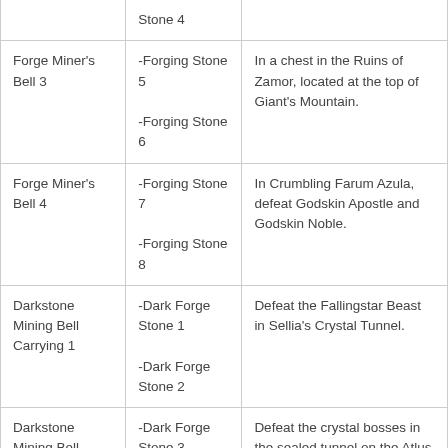| Item | Materials | Location |
| --- | --- | --- |
|  | Stone 4 |  |
| Forge Miner's Bell 3 | -Forging Stone 5
-Forging Stone 6 | In a chest in the Ruins of Zamor, located at the top of Giant's Mountain. |
| Forge Miner's Bell 4 | -Forging Stone 7
-Forging Stone 8 | In Crumbling Farum Azula, defeat Godskin Apostle and Godskin Noble. |
| Darkstone Mining Bell Carrying 1 | -Dark Forge Stone 1
-Dark Forge Stone 2 | Defeat the Fallingstar Beast in Sellia's Crystal Tunnel. |
| Darkstone Mining Bell Carrying 2 | -Dark Forge Stone 3
-Dark Forge Stone 4 | Defeat the crystal bosses in the sealed tunnel on the Atlus Plateau. |